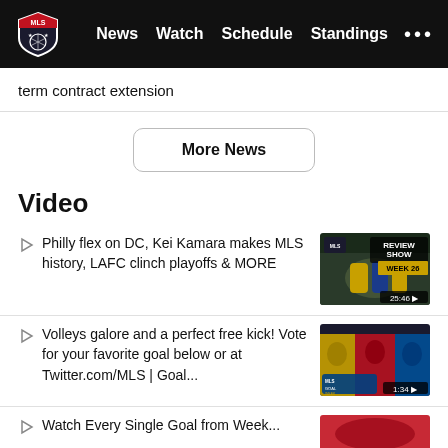MLS | News | Watch | Schedule | Standings | ...
term contract extension
More News
Video
Philly flex on DC, Kei Kamara makes MLS history, LAFC clinch playoffs & MORE
[Figure (screenshot): Video thumbnail showing MLS Review Show Week 26, soccer players celebrating, duration 25:46]
Volleys galore and a perfect free kick! Vote for your favorite goal below or at Twitter.com/MLS | Goal...
[Figure (screenshot): Video thumbnail showing MLS Goal of the Week with soccer players, duration 1:34]
Watch Every Single Goal from Week...
[Figure (screenshot): Partial video thumbnail]